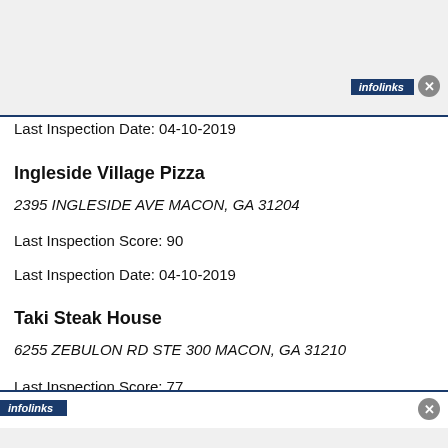[Figure (screenshot): Top advertisement banner with gray background, infolinks badge and close button]
Last Inspection Date: 04-10-2019
Ingleside Village Pizza
2395 INGLESIDE AVE MACON, GA 31204
Last Inspection Score: 90
Last Inspection Date: 04-10-2019
Taki Steak House
6255 ZEBULON RD STE 300 MACON, GA 31210
Last Inspection Score: 77
Last Inspection Date: 04-10-2019
[Figure (screenshot): Bottom advertisement banner with infolinks badge and close button]